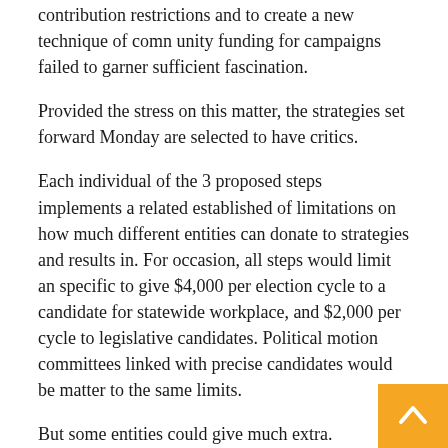contribution restrictions and to create a new technique of community funding for campaigns failed to garner sufficient fascination.
Provided the stress on this matter, the strategies set forward Monday are selected to have critics.
Each individual of the 3 proposed steps implements a related established of limitations on how much different entities can donate to strategies and results in. For occasion, all steps would limit an specific to give $4,000 per election cycle to a candidate for statewide workplace, and $2,000 per cycle to legislative candidates. Political motion committees linked with precise candidates would be matter to the same limits.
But some entities could give much extra. Committees connected with political parties could